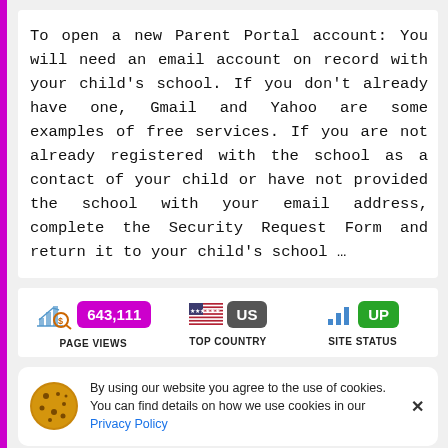To open a new Parent Portal account: You will need an email account on record with your child's school. If you don't already have one, Gmail and Yahoo are some examples of free services. If you are not already registered with the school as a contact of your child or have not provided the school with your email address, complete the Security Request Form and return it to your child's school …
[Figure (infographic): Website stats: PAGE VIEWS 643,111 | TOP COUNTRY US (with US flag) | SITE STATUS UP (with bar chart icon)]
By using our website you agree to the use of cookies. You can find details on how we use cookies in our Privacy Policy
VISIT WEBSITE